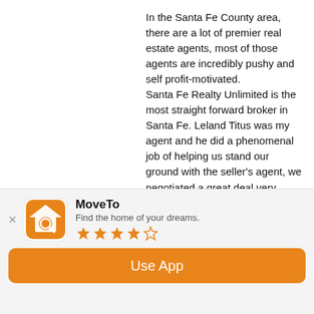In the Santa Fe County area, there are a lot of premier real estate agents, most of those agents are incredibly pushy and self profit-motivated. Santa Fe Realty Unlimited is the most straight forward broker in Santa Fe. Leland Titus was my agent and he did a phenomenal job of helping us stand our ground with the seller's agent, we negotiated a great deal very quickly, closing in only three amendments!

To be honest, Leland was the only person during my transaction that was Timely and 100% accurate on all documents the first time, maybe he should start a Land Title Company too! Thank you, Leland, and Santa Fe realty Unlimited!
[Figure (logo): MoveTo app icon — orange house with a magnifying glass]
MoveTo
Find the home of your dreams.
★★★★☆
Use App